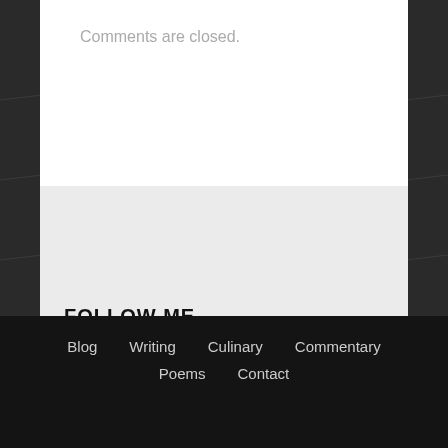Comments are closed.
FOLLOW ME
[Figure (illustration): Facebook and Twitter social media icon buttons (rounded square icons, blue background)]
Blog   Writing   Culinary   Commentary   Poems   Contact